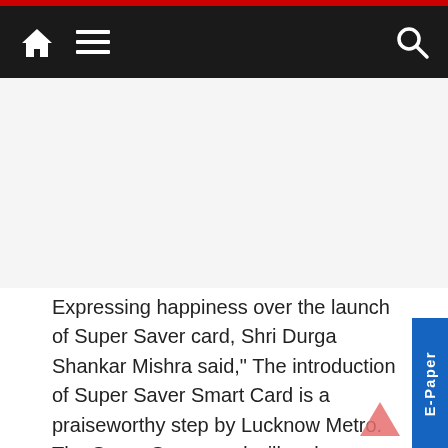Navigation bar with home icon, menu icon, and search icon
[Figure (other): Advertisement or blank space area below navigation bar]
Expressing happiness over the launch of Super Saver card, Shri Durga Shankar Mishra said," The introduction of Super Saver Smart Card is a praiseworthy step by Lucknow Metro. The Super Saver card will make travelling from one destination to another even more affordable and convenient. In the current scenario where the